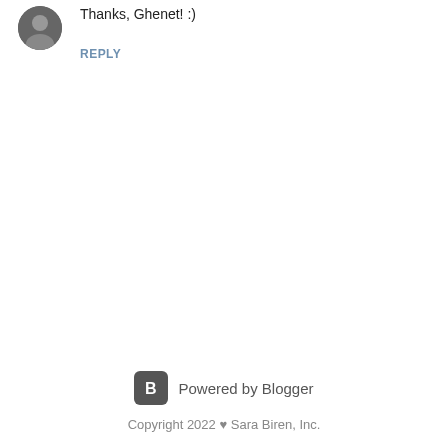[Figure (photo): Small circular avatar photo of a person, black and white]
Thanks, Ghenet! :)
REPLY
[Figure (logo): Blogger logo icon - letter B in white on dark rounded square background]
Powered by Blogger
Copyright 2022 ♥ Sara Biren, Inc.